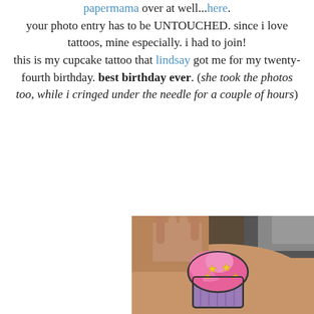papermama over at well...here. your photo entry has to be UNTOUCHED. since i love tattoos, mine especially. i had to join! this is my cupcake tattoo that lindsay got me for my twenty-fourth birthday. best birthday ever. (she took the photos too, while i cringed under the needle for a couple of hours)
[Figure (photo): A close-up photo of a colorful cupcake tattoo on a person's arm. The tattoo features a pink frosted cupcake with yellow stars on a purple/violet cupcake base. The person's hand and gray shirt sleeve are visible in the background.]